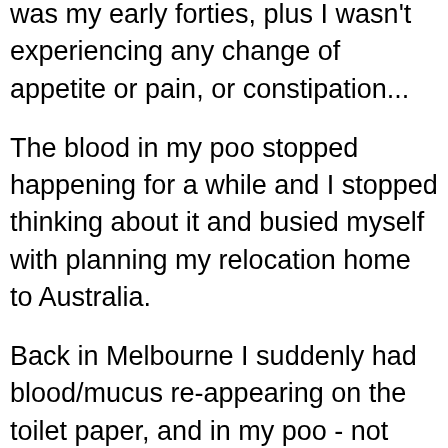was my early forties, plus I wasn't experiencing any change of appetite or pain, or constipation...
The blood in my poo stopped happening for a while and I stopped thinking about it and busied myself with planning my relocation home to Australia.
Back in Melbourne I suddenly had blood/mucus re-appearing on the toilet paper, and in my poo - not huge amounts, but enough to worry me again. I also started to feel inexplicably exhausted, drained of energy and generally unwell. I told my local GP, who said I probably had haemorrhoids, but she couldn't find any on investigation and said I should let her know if it happened again. She referred me